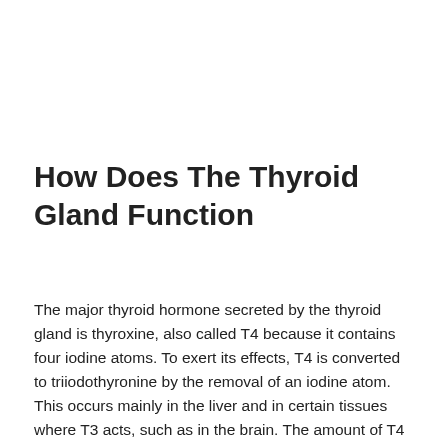How Does The Thyroid Gland Function
The major thyroid hormone secreted by the thyroid gland is thyroxine, also called T4 because it contains four iodine atoms. To exert its effects, T4 is converted to triiodothyronine by the removal of an iodine atom. This occurs mainly in the liver and in certain tissues where T3 acts, such as in the brain. The amount of T4 produced by the thyroid gland is controlled by another hormone, which is made in the pituitary gland located at the base of the brain,